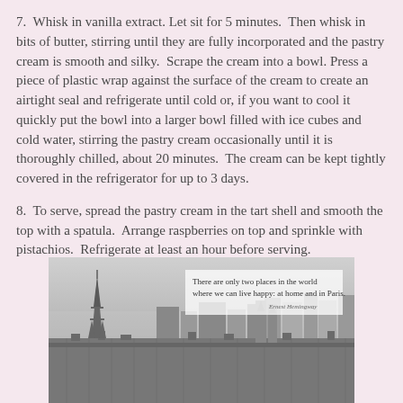7.  Whisk in vanilla extract. Let sit for 5 minutes.  Then whisk in bits of butter, stirring until they are fully incorporated and the pastry cream is smooth and silky.  Scrape the cream into a bowl.  Press a piece of plastic wrap against the surface of the cream to create an airtight seal and refrigerate until cold or, if you want to cool it quickly put the bowl into a larger bowl filled with ice cubes and cold water, stirring the pastry cream occasionally until it is thoroughly chilled, about 20 minutes.  The cream can be kept tightly covered in the refrigerator for up to 3 days.
8.  To serve, spread the pastry cream in the tart shell and smooth the top with a spatula.  Arrange raspberries on top and sprinkle with pistachios.  Refrigerate at least an hour before serving.
[Figure (photo): Black and white aerial photo of Paris skyline with the Eiffel Tower visible on the left, overlaid with a quote: 'There are only two places in the world where we can live happy: at home and in Paris. - Ernest Hemingway']